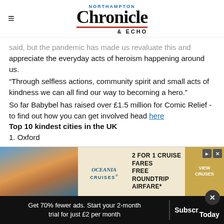Northampton Chronicle & Echo
said, but the pandemic has made us revaluate this and appreciate the everyday acts of heroism happening around us.
“Through selfless actions, community spirit and small acts of kindness we can all find our way to becoming a hero.”
So far Babybel has raised over £1.5 million for Comic Relief - to find out how you can get involved head here
Top 10 kindest cities in the UK
1. Oxford
2. Belfast
3. Brighton
4. Glasgow
5. Edinburgh
6. Liverpool
7. Newcastle
8. Cambridge
[Figure (infographic): Oceania Cruises advertisement: 2 for 1 cruise fares, free roundtrip airfare]
Get 70% fewer ads. Start your 2-month trial for just £2 per month